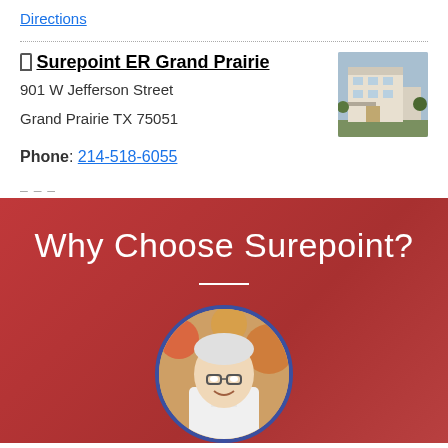Directions
Surepoint ER Grand Prairie
901 W Jefferson Street
Grand Prairie TX 75051
Phone: 214-518-6055
[Figure (photo): Exterior photo of Surepoint ER Grand Prairie building]
Why Choose Surepoint?
[Figure (photo): Circular portrait photo of a doctor in white coat]